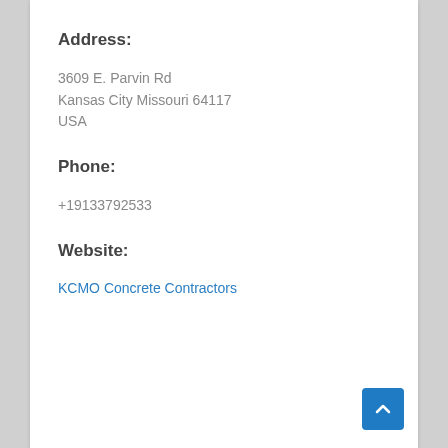Address:
3609 E. Parvin Rd
Kansas City Missouri 64117
USA
Phone:
+19133792533
Website:
KCMO Concrete Contractors